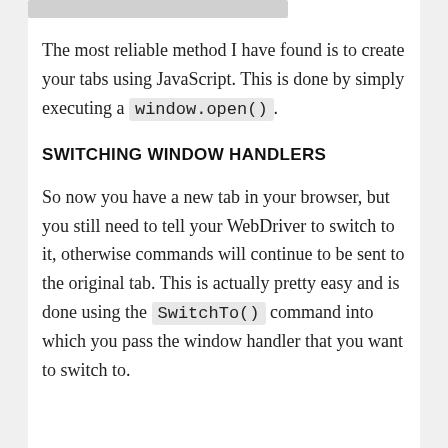The most reliable method I have found is to create your tabs using JavaScript. This is done by simply executing a window.open().
SWITCHING WINDOW HANDLERS
So now you have a new tab in your browser, but you still need to tell your WebDriver to switch to it, otherwise commands will continue to be sent to the original tab. This is actually pretty easy and is done using the SwitchTo() command into which you pass the window handler that you want to switch to.